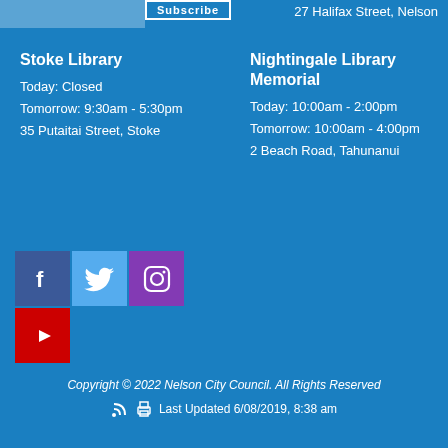27 Halifax Street, Nelson
Stoke Library
Today: Closed
Tomorrow: 9:30am - 5:30pm
35 Putaitai Street, Stoke
Nightingale Library Memorial
Today: 10:00am - 2:00pm
Tomorrow: 10:00am - 4:00pm
2 Beach Road, Tahunanui
[Figure (infographic): Social media icons: Facebook (blue-purple square), Twitter (light blue square), Instagram (purple square), YouTube (red square)]
Copyright © 2022 Nelson City Council. All Rights Reserved
Last Updated 6/08/2019, 8:38 am